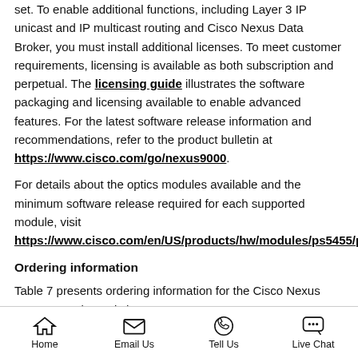set. To enable additional functions, including Layer 3 IP unicast and IP multicast routing and Cisco Nexus Data Broker, you must install additional licenses. To meet customer requirements, licensing is available as both subscription and perpetual. The licensing guide illustrates the software packaging and licensing available to enable advanced features. For the latest software release information and recommendations, refer to the product bulletin at https://www.cisco.com/go/nexus9000.
For details about the optics modules available and the minimum software release required for each supported module, visit https://www.cisco.com/en/US/products/hw/modules/ps5455/products_device_support_tables_list.html.
Ordering information
Table 7 presents ordering information for the Cisco Nexus 9300-EX series switches.
Home | Email Us | Tell Us | Live Chat